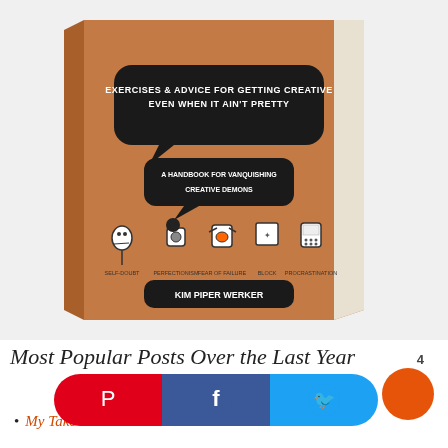[Figure (photo): Book cover photo of 'Exercises & Advice for Getting Creative Even When It Ain't Pretty — A Handbook for Vanquishing Creative Demons' by Kim Piper Werker. Brown/kraft textured cover with black speech bubble design and illustrated characters labeled Self-Doubt, Perfectionism, Fear of Failure, Block, Procrastination.]
Most Popular Posts Over the Last Year
My Take on a...